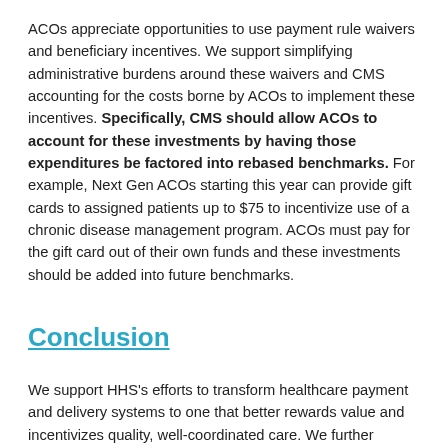ACOs appreciate opportunities to use payment rule waivers and beneficiary incentives. We support simplifying administrative burdens around these waivers and CMS accounting for the costs borne by ACOs to implement these incentives. Specifically, CMS should allow ACOs to account for these investments by having those expenditures be factored into rebased benchmarks. For example, Next Gen ACOs starting this year can provide gift cards to assigned patients up to $75 to incentivize use of a chronic disease management program. ACOs must pay for the gift card out of their own funds and these investments should be added into future benchmarks.
Conclusion
We support HHS's efforts to transform healthcare payment and delivery systems to one that better rewards value and incentivizes quality, well-coordinated care. We further appreciate the opportunity to provide feedback on the Next Generation ACO Model. Since its start in 2016, the...